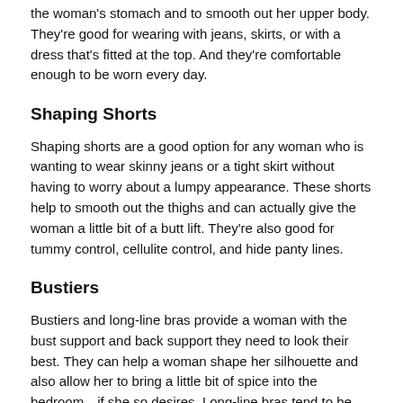the woman's stomach and to smooth out her upper body. They're good for wearing with jeans, skirts, or with a dress that's fitted at the top. And they're comfortable enough to be worn every day.
Shaping Shorts
Shaping shorts are a good option for any woman who is wanting to wear skinny jeans or a tight skirt without having to worry about a lumpy appearance. These shorts help to smooth out the thighs and can actually give the woman a little bit of a butt lift. They're also good for tummy control, cellulite control, and hide panty lines.
Bustiers
Bustiers and long-line bras provide a woman with the bust support and back support they need to look their best. They can help a woman shape her silhouette and also allow her to bring a little bit of spice into the bedroom—if she so desires. Long-line bras tend to be more comfortable to wear than underwire bras because the longer bands provide additional support that spans a larger portion of her...